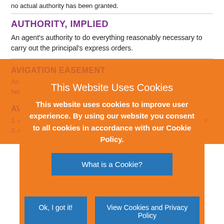no actual authority has been granted.
AUTHORITY, IMPLIED
An agent's authority to do everything reasonably necessary to carry out the principal's express orders.
AVIGATION EASEMENT
An easement over private property near an airport that limits the height of structures and trees.
AVULSION
1. A sudden (not gradual) tearing away of land by the action of water. 2. A sudden shifting…
This Website Uses Cookies
This website uses cookies to improve user experience. By using our website you consent to all cookies in accordance with our Cookie Policy.
What is a Cookie?
Ok, I got it!
View Cookies and Privacy Policy